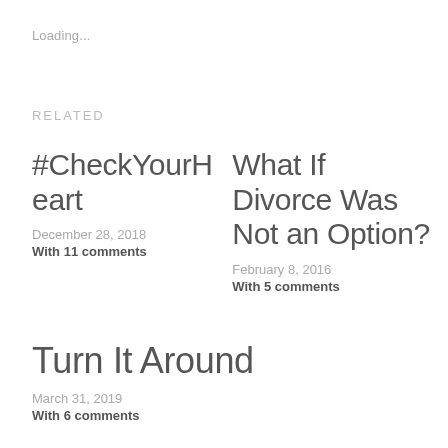Loading...
RELATED
#CheckYourHeart
December 28, 2018
With 11 comments
What If Divorce Was Not an Option?
February 8, 2016
With 5 comments
Turn It Around
March 31, 2019
With 6 comments